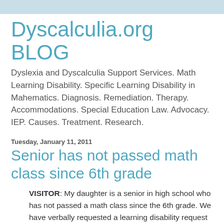Dyscalculia.org BLOG
Dyslexia and Dyscalculia Support Services. Math Learning Disability. Specific Learning Disability in Mahematics. Diagnosis. Remediation. Therapy. Accommodations. Special Education Law. Advocacy. IEP. Causes. Treatment. Research.
Tuesday, January 11, 2011
Senior has not passed math class since 6th grade
VISITOR: My daughter is a senior in high school who has not passed a math class since the 6th grade. We have verbally requested a learning disability request several times and are now sending in a written request.
DYSCALCULIA.ORG: Amazing that this has never made it onto